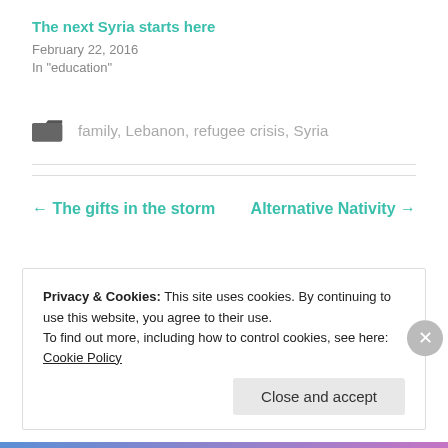The next Syria starts here
February 22, 2016
In "education"
family, Lebanon, refugee crisis, Syria
← The gifts in the storm
Alternative Nativity →
Privacy & Cookies: This site uses cookies. By continuing to use this website, you agree to their use.
To find out more, including how to control cookies, see here: Cookie Policy
Close and accept